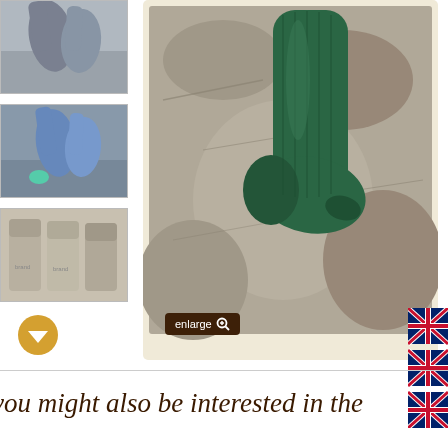[Figure (photo): Three thumbnail images of socks on left sidebar: top shows gray/blue socks on stone, middle shows blue/teal socks outdoors, bottom shows beige/taupe folded socks]
[Figure (photo): Main large product photo of a single green knitted sock laid flat on rocky/stone surface outdoors]
enlarge 🔍
[Figure (illustration): Partial UK/British flag icons on right edge]
you might also be interested in the